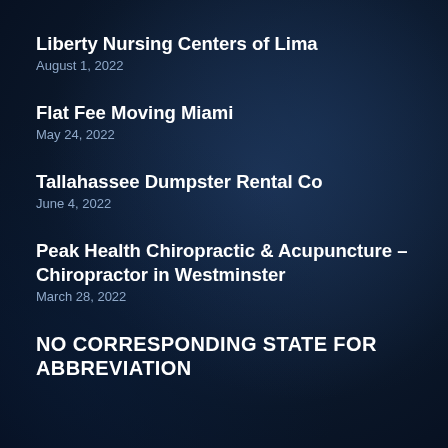Liberty Nursing Centers of Lima
August 1, 2022
Flat Fee Moving Miami
May 24, 2022
Tallahassee Dumpster Rental Co
June 4, 2022
Peak Health Chiropractic & Acupuncture – Chiropractor in Westminster
March 28, 2022
NO CORRESPONDING STATE FOR ABBREVIATION